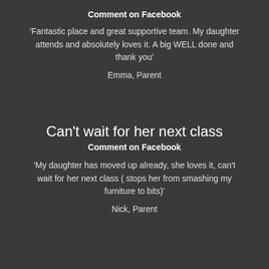Comment on Facebook
‘Fantastic place and great supportive team. My daughter attends and absolutely loves it. A big WELL done and thank you’
Emma, Parent
Can’t wait for her next class
Comment on Facebook
‘My daughter has moved up already, she loves it, can’t wait for her next class ( stops her from smashing my furniture to bits)’
Nick, Parent